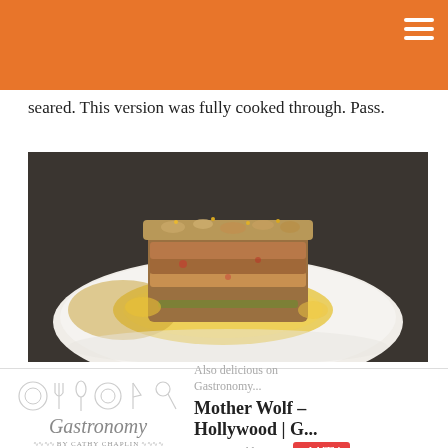seared. This version was fully cooked through. Pass.
[Figure (photo): Close-up photo of a plated dish — a crispy, crusted food item (possibly a crab or fish cake) with golden-brown topping on a white plate with yellow sauce]
[Figure (infographic): Gastronomy blog popup widget showing logo with cooking icons, 'Also delicious on Gastronomy...' text, 'Mother Wolf – Hollywood | G...' title, gastronomyblog.com URL, and AddThis button]
Also delicious on Gastronomy...
Mother Wolf – Hollywood | G...
gastronomyblog.com